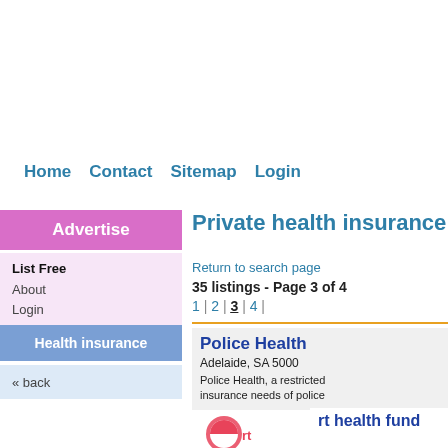Home | Contact | Sitemap | Login
[Figure (logo): Advertise button - pink/magenta background]
List Free
About
Login
Health insurance
« back
Private health insurance
Return to search page
35 listings - Page 3 of 4
1 | 2 | 3 | 4 |
Police Health
Adelaide, SA 5000
Police Health, a restricted insurance needs of police
rt health fund
[Figure (logo): rt health fund logo - partial circle icon]